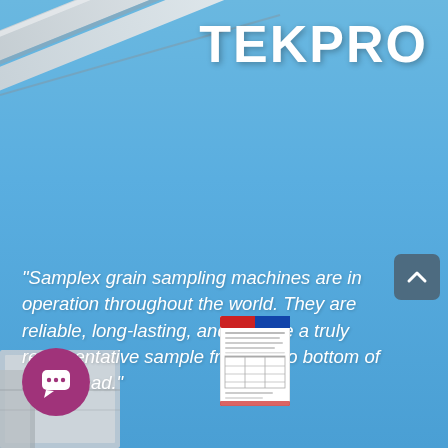[Figure (photo): Blue sky background with crane arm/boom extending diagonally from upper left, and industrial equipment visible at lower left]
TEKPRO
“Samplex grain sampling machines are in operation throughout the world. They are reliable, long-lasting, and provide a truly representative sample from top to bottom of a bulk load.”
[Figure (photo): Small document/brochure thumbnail image]
[Figure (other): Purple circular chat button icon at bottom left]
[Figure (other): Dark blue-grey scroll up arrow button at right side]